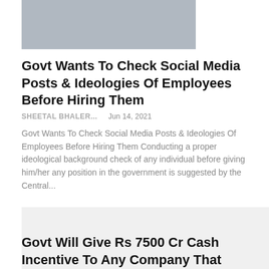[Figure (photo): Crowd of people, appears to be a queue or gathering outdoors]
Govt Wants To Check Social Media Posts & Ideologies Of Employees Before Hiring Them
SHEETAL BHALER...   Jun 14, 2021
Govt Wants To Check Social Media Posts & Ideologies Of Employees Before Hiring Them Conducting a proper ideological background check of any individual before giving him/her any position in the government is suggested by the Central...
[Figure (photo): Business article image placeholder (light gray)]
Govt Will Give Rs 7500 Cr Cash Incentive To Any Company That Can Make Chips In India